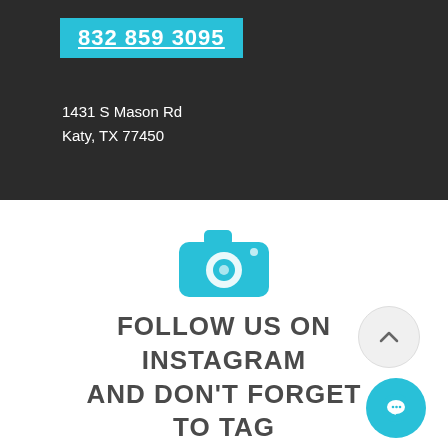832 859 3095
1431 S Mason Rd
Katy, TX 77450
[Figure (illustration): Cyan camera icon representing Instagram/social media]
FOLLOW US ON INSTAGRAM AND DON'T FORGET TO TAG US @ELKOURMET